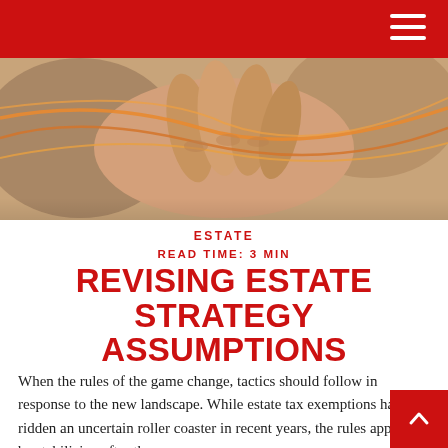[Figure (photo): Close-up photo of hands holding orange/tan strings or threads, weaving or tying them together]
ESTATE
READ TIME: 3 MIN
REVISING ESTATE STRATEGY ASSUMPTIONS
When the rules of the game change, tactics should follow in response to the new landscape. While estate tax exemptions have ridden an uncertain roller coaster in recent years, the rules appear to be stabilizing after the